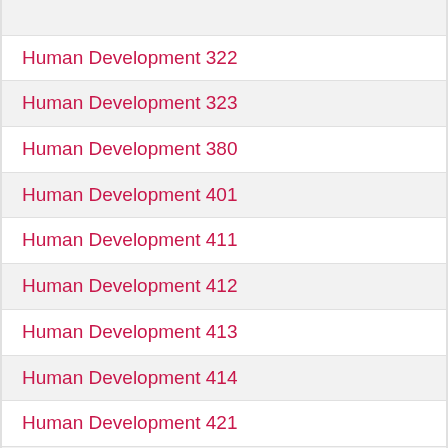Human Development 322
Human Development 323
Human Development 380
Human Development 401
Human Development 411
Human Development 412
Human Development 413
Human Development 414
Human Development 421
Human Development 422
Human Development 423
Human Development 424